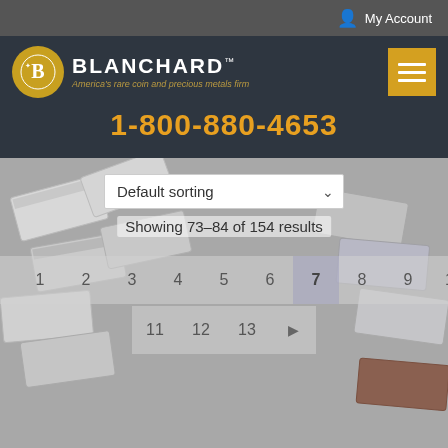My Account
BLANCHARD™ — America's rare coin and precious metals firm
1-800-880-4653
Default sorting
Showing 73–84 of 154 results
◄ 1 2 3 4 5 6 7 8 9 10
11 12 13 ►
[Figure (screenshot): Silver bars stacked in background, product listing page for Blanchard coin dealer]
[Figure (logo): AC grading badge — green oval logo]
[Figure (photo): Two gold coins partially visible at bottom]
[Figure (illustration): Yellow circle with phone/call icon]
User account icon | Search icon | Cart icon with badge 0